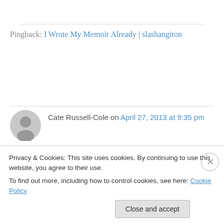Pingback: I Wrote My Memoir Already | slashangiton
Cate Russell-Cole on April 27, 2013 at 9:35 pm
Reblogged this on "CommuniCATE" Resources for Writers and commented:
If you write and love memoir, this is a must follow blog! Please visit and have a good look around, there are plenty of treasures waiting for you. Enjoy
Privacy & Cookies: This site uses cookies. By continuing to use this website, you agree to their use. To find out more, including how to control cookies, see here: Cookie Policy